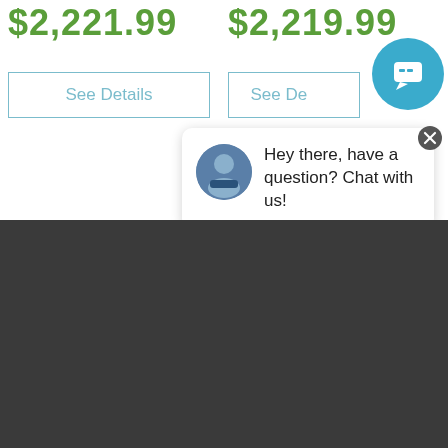$2,221.99
$2,219.99
See Details
See De...
[Figure (screenshot): Chat popup with avatar and message: Hey there, have a question? Chat with us!]
866-931-5339
Today's Hours: 9:00 AM - 6:00 PM
Email Us
We'll get back to you within 24hrs
Help Center
Find answers online anytime